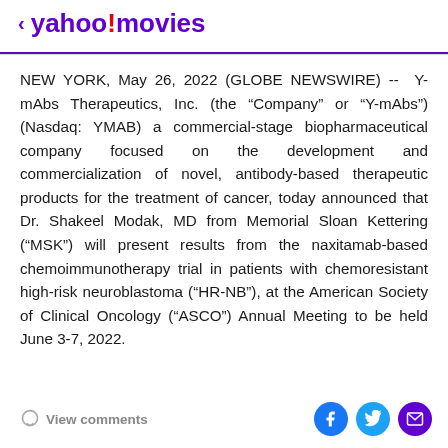< yahoo!movies
NEW YORK, May 26, 2022 (GLOBE NEWSWIRE) --  Y-mAbs Therapeutics, Inc. (the “Company” or “Y-mAbs”) (Nasdaq: YMAB) a commercial-stage biopharmaceutical company focused on the development and commercialization of novel, antibody-based therapeutic products for the treatment of cancer, today announced that Dr. Shakeel Modak, MD from Memorial Sloan Kettering (“MSK”) will present results from the naxitamab-based chemoimmunotherapy trial in patients with chemoresistant high-risk neuroblastoma (“HR-NB”), at the American Society of Clinical Oncology (“ASCO”) Annual Meeting to be held June 3-7, 2022.
View comments